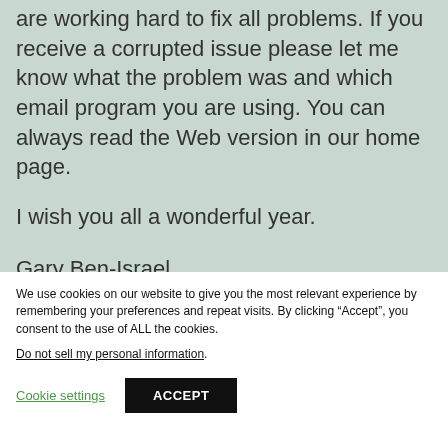are working hard to fix all problems. If you receive a corrupted issue please let me know what the problem was and which email program you are using. You can always read the Web version in our home page.
I wish you all a wonderful year.
Gary Ben-Israel
We use cookies on our website to give you the most relevant experience by remembering your preferences and repeat visits. By clicking “Accept”, you consent to the use of ALL the cookies.
Do not sell my personal information.
Cookie settings
ACCEPT